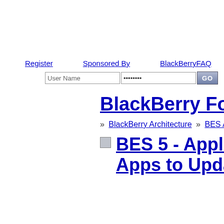Register   Sponsored By   BlackBerryFAQ
[Figure (screenshot): Login form with User Name text input, password input with dots, and GO button]
BlackBerry Forum
» BlackBerry Architecture » BES Ad...
BES 5 - Application... Apps to Update?